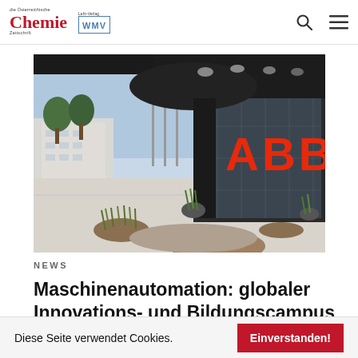die Österreichische Chemie Zeitschrift / WMV logo, search and menu icons
[Figure (photo): Exterior view of ABB building with large red ABB logo on glass facade, flagpoles with orange flags, modern architecture with dark canopy roof, landscaped foreground with ornamental grasses and gravel]
NEWS
Maschinenautomation: globaler Innovations- und Bildungscampus
Diese Seite verwendet Cookies.
Einverstanden!